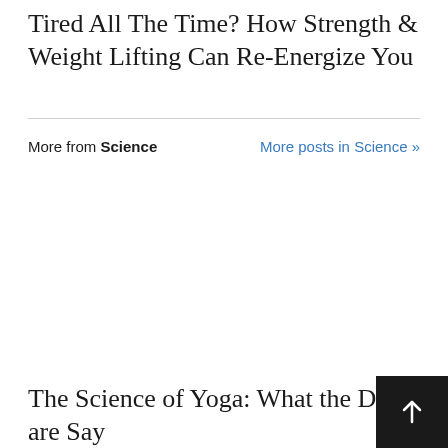Tired All The Time? How Strength & Weight Lifting Can Re-Energize You
More from Science   More posts in Science »
The Science of Yoga: What the Doctors are Say